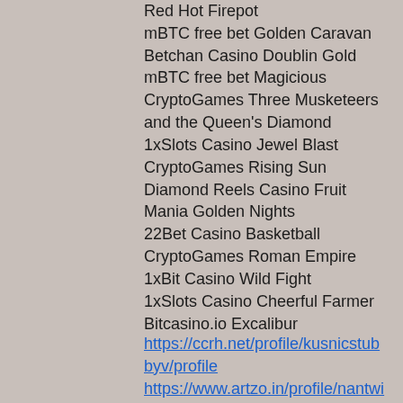Red Hot Firepot
mBTC free bet Golden Caravan
Betchan Casino Doublin Gold
mBTC free bet Magicious
CryptoGames Three Musketeers and the Queen's Diamond
1xSlots Casino Jewel Blast
CryptoGames Rising Sun
Diamond Reels Casino Fruit Mania Golden Nights
22Bet Casino Basketball
CryptoGames Roman Empire
1xBit Casino Wild Fight
1xSlots Casino Cheerful Farmer
Bitcasino.io Excalibur
https://ccrh.net/profile/kusnicstubbyv/profile
https://www.artzo.in/profile/nantwinacyq/profile
https://www.talltreesdaynurseryreigate.com/profile/vediakolkz/profile
https://www.ps5community.com/profile/zuhlk